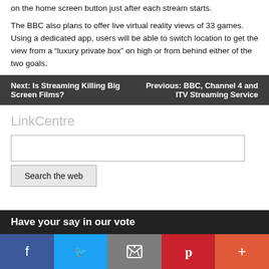on the home screen button just after each stream starts.
The BBC also plans to offer live virtual reality views of 33 games. Using a dedicated app, users will be able to switch location to get the view from a “luxury private box” on high or from behind either of the two goals.
Next: Is Streaming Killing Big Screen Films?
Previous: BBC, Channel 4 and ITV Streaming Service
LinkCentre
Search the web
Have your say in our vote